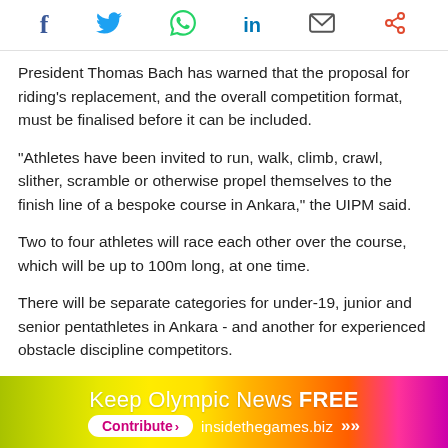[Figure (other): Social media sharing icons bar: Facebook (f), Twitter (bird), WhatsApp (phone), LinkedIn (in), Email (envelope), Share (nodes)]
President Thomas Bach has warned that the proposal for riding's replacement, and the overall competition format, must be finalised before it can be included.
"Athletes have been invited to run, walk, climb, crawl, slither, scramble or otherwise propel themselves to the finish line of a bespoke course in Ankara," the UIPM said.
Two to four athletes will race each other over the course, which will be up to 100m long, at one time.
There will be separate categories for under-19, junior and senior pentathletes in Ankara - and another for experienced obstacle discipline competitors.
The UIPM has claimed that obstacle athletes now have a route to the Olympic Games, if they are able to add swimming, fencing and laser-run skills to their repertoire.
[Figure (other): Dark video thumbnail with play button]
[Figure (other): Advertisement banner: Keep Olympic News FREE — Contribute > insidethegames.biz with double arrows, gradient background from yellow-green to pink]